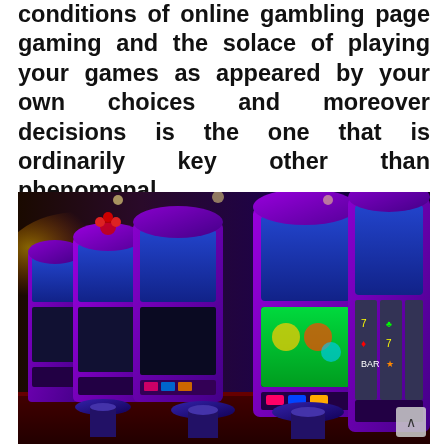conditions of online gambling page gaming and the solace of playing your games as appeared by your own choices and moreover decisions is the one that is ordinarily key other than phenomenal.
[Figure (photo): A row of colorful casino slot machines with purple frames and green glowing screens in a casino setting, viewed at an angle showing multiple machines receding into the background.]